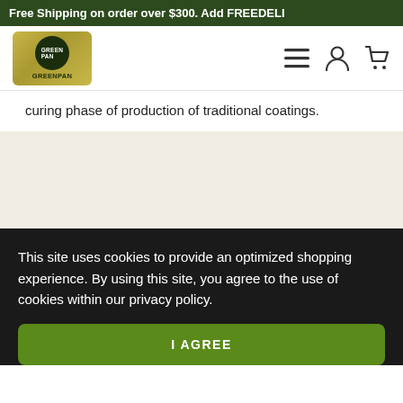Free Shipping on order over $300. Add FREEDELI
[Figure (logo): GreenPan logo on gold/green background with navigation icons (hamburger menu, user account, shopping cart)]
curing phase of production of traditional coatings.
This site uses cookies to provide an optimized shopping experience. By using this site, you agree to the use of cookies within our privacy policy.
I AGREE